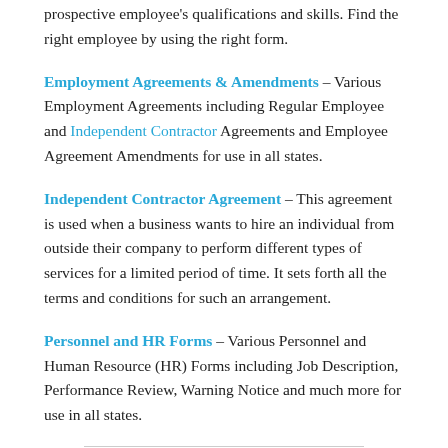prospective employee's qualifications and skills. Find the right employee by using the right form.
Employment Agreements & Amendments – Various Employment Agreements including Regular Employee and Independent Contractor Agreements and Employee Agreement Amendments for use in all states.
Independent Contractor Agreement – This agreement is used when a business wants to hire an individual from outside their company to perform different types of services for a limited period of time. It sets forth all the terms and conditions for such an arrangement.
Personnel and HR Forms – Various Personnel and Human Resource (HR) Forms including Job Description, Performance Review, Warning Notice and much more for use in all states.